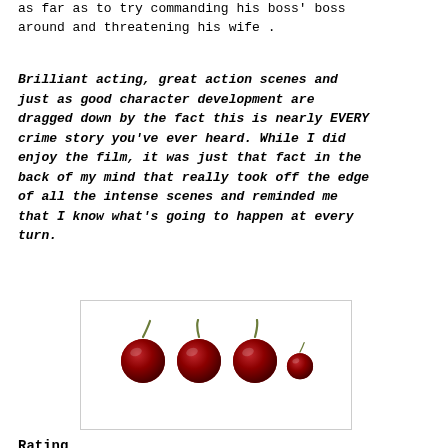as far as to try commanding his boss' boss around and threatening his wife .
Brilliant acting, great action scenes and just as good character development are dragged down by the fact this is nearly EVERY crime story you've ever heard. While I did enjoy the film, it was just that fact in the back of my mind that really took off the edge of all the intense scenes and reminded me that I know what's going to happen at every turn.
[Figure (illustration): Four cherries arranged in a row on a white background inside a bordered box, used as a rating graphic.]
Rating